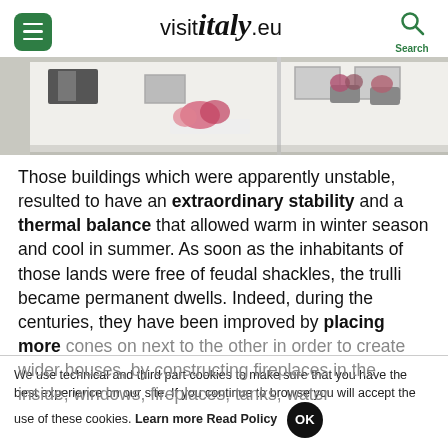visit italy .eu
[Figure (photo): Exterior of white Italian trulli buildings with flower boxes in windows]
Those buildings which were apparently unstable, resulted to have an extraordinary stability and a thermal balance that allowed warm in winter season and cool in summer. As soon as the inhabitants of those lands were free of feudal shackles, the trulli became permanent dwells. Indeed, during the centuries, they have been improved by placing more cones on next to the other in order to create wider houses, by constructing fireplaces in the inside, windows, fireplaces, tanks, water
We use technical and third part cookies to make sure that you have the best experience on our site. If you continue to browse you will accept the use of these cookies. Learn more Read Policy OK